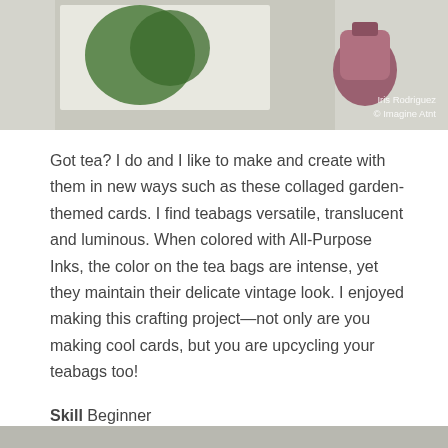[Figure (photo): Photograph showing collaged garden-themed cards with green leaf elements and a mauve/pink ink bottle on a white surface. Watermark reads 'Iris Rodriguez © Imagine Atnt']
Got tea? I do and I like to make and create with them in new ways such as these collaged garden-themed cards. I find teabags versatile, translucent and luminous. When colored with All-Purpose Inks, the color on the tea bags are intense, yet they maintain their delicate vintage look. I enjoyed making this crafting project—not only are you making cool cards, but you are upcycling your teabags too!
Skill Beginner
Time: 45 minutes
Directions
[Figure (photo): Partial photo at bottom of page, cut off]